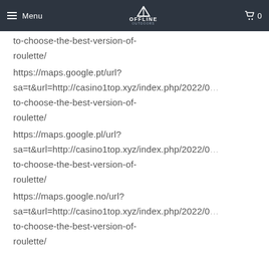Menu | OFFLINE OUTDOORS | 0
to-choose-the-best-version-of-roulette/
https://maps.google.pt/url?sa=t&url=http://casino1top.xyz/index.php/2022/0... to-choose-the-best-version-of-roulette/
https://maps.google.pl/url?sa=t&url=http://casino1top.xyz/index.php/2022/0... to-choose-the-best-version-of-roulette/
https://maps.google.no/url?sa=t&url=http://casino1top.xyz/index.php/2022/0... to-choose-the-best-version-of-roulette/